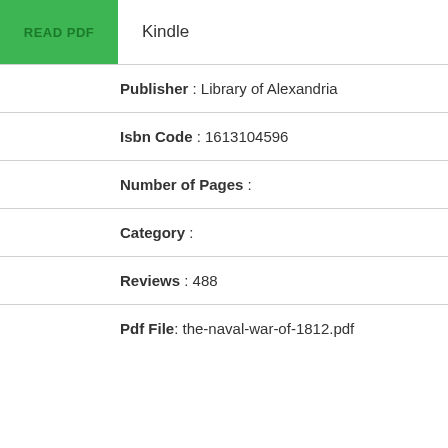[Figure (other): Green READ PDF button partially visible on left side]
Kindle
Publisher : Library of Alexandria
Isbn Code : 1613104596
Number of Pages :
Category :
Reviews : 488
Pdf File: the-naval-war-of-1812.pdf